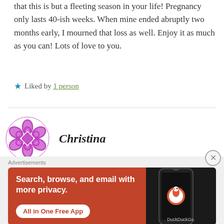that this is but a fleeting season in your life! Pregnancy only lasts 40-ish weeks. When mine ended abruptly two months early, I mourned that loss as well. Enjoy it as much as you can! Lots of love to you.
★ Liked by 1 person
Christina
[Figure (illustration): DuckDuckGo advertisement banner with red background showing 'Search, browse, and email with more privacy. All in One Free App' with phone mockup and DuckDuckGo logo]
Advertisements